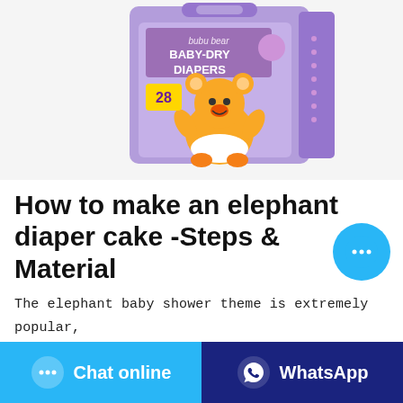[Figure (photo): Product image of 'bubu bear BABY-DRY DIAPERS' package with purple background and a cartoon bear character, showing '28' count]
How to make an elephant diaper cake -Steps & Material
The elephant baby shower theme is extremely popular, which is why an elephant diaper cake would be awesome. this how to make an elephant diaper cake Also the elephant theme is totally neutral, so you could
[Figure (other): Floating blue circular chat button with ellipsis icon]
Chat online
WhatsApp